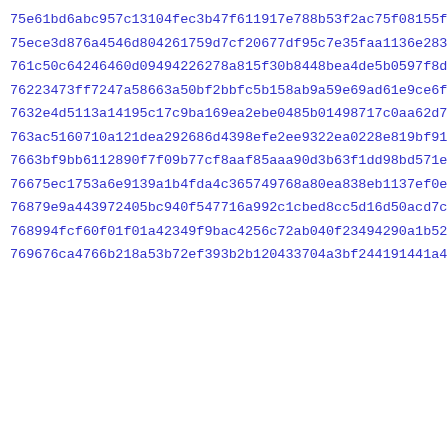75e61bd6abc957c13104fec3b47f611917e788b53f2ac75f08155f34b6a50
75ece3d876a4546d804261759d7cf20677df95c7e35faa1136e283fd463f4
761c50c64246460d09494226278a815f30b8448bea4de5b0597f8d2484631
76223473ff7247a58663a50bf2bbfc5b158ab9a59e69ad61e9ce6f2e9fb76
7632e4d5113a14195c17c9ba169ea2ebe0485b01498717c0aa62d7450fa5d
763ac5160710a121dea292686d4398efe2ee9322ea0228e819bf91ccf155c
7663bf9bb6112890f7f09b77cf8aaf85aaa90d3b63f1dd98bd571ec92fa11
76675ec1753a6e9139a1b4fda4c365749768a80ea838eb1137ef0e2ddd299
76879e9a443972405bc940f547716a992c1cbed8cc5d16d50acd7c92ae807
768994fcf60f01f01a42349f9bac4256c72ab040f23494290a1b52d56a5d1
769676ca4766b218a53b72ef393b2b120433704a3bf244191441a4d96e7b2